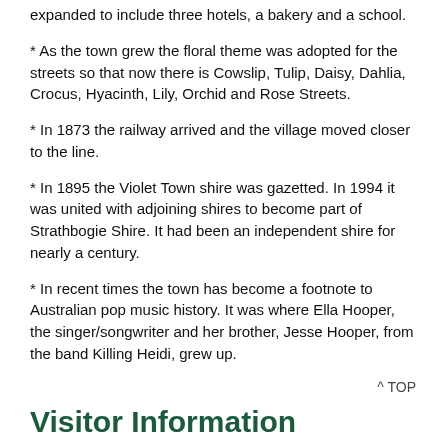expanded to include three hotels, a bakery and a school.
* As the town grew the floral theme was adopted for the streets so that now there is Cowslip, Tulip, Daisy, Dahlia, Crocus, Hyacinth, Lily, Orchid and Rose Streets.
* In 1873 the railway arrived and the village moved closer to the line.
* In 1895 the Violet Town shire was gazetted. In 1994 it was united with adjoining shires to become part of Strathbogie Shire. It had been an independent shire for nearly a century.
* In recent times the town has become a footnote to Australian pop music history. It was where Ella Hooper, the singer/songwriter and her brother, Jesse Hooper, from the band Killing Heidi, grew up.
^ TOP
Visitor Information
The visitor Information Centre is in the town. The short...